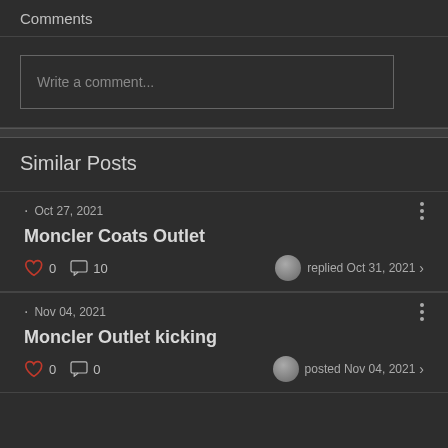Comments
Write a comment...
Similar Posts
· Oct 27, 2021
Moncler Coats Outlet
0  10  replied Oct 31, 2021
· Nov 04, 2021
Moncler Outlet kicking
0  0  posted Nov 04, 2021